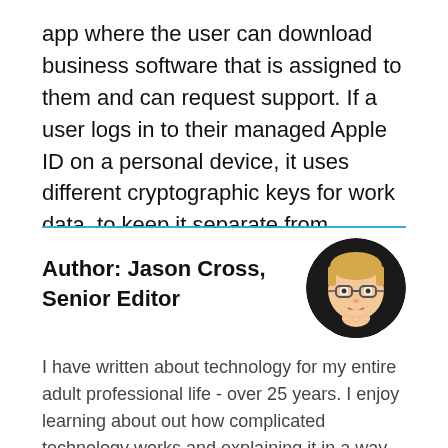app where the user can download business software that is assigned to them and can request support. If a user logs in to their managed Apple ID on a personal device, it uses different cryptographic keys for work data, to keep it separate from personal data.
Author: Jason Cross, Senior Editor
[Figure (photo): Circular avatar illustration of Jason Cross, a cartoon-style character with glasses and blonde hair touching chin with hand against dark background]
I have written about technology for my entire adult professional life - over 25 years. I enjoy learning about out how complicated technology works and explaining it in a way anyone can understand.
[Figure (infographic): Social media icons: Twitter bird icon, RSS feed icon, and Facebook icon]